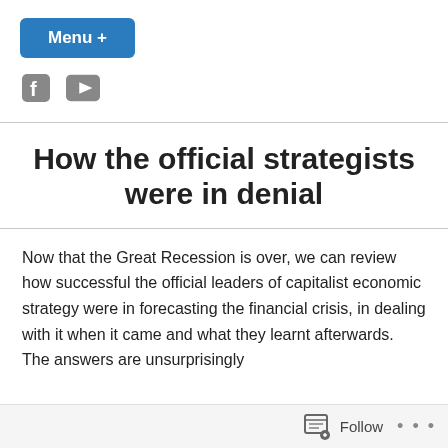Menu +
[Figure (other): Social media icons: Facebook and YouTube]
How the official strategists were in denial
Now that the Great Recession is over, we can review how successful the official leaders of capitalist economic strategy were in forecasting the financial crisis, in dealing with it when it came and what they learnt afterwards.  The answers are unsurprisingly
Follow ...